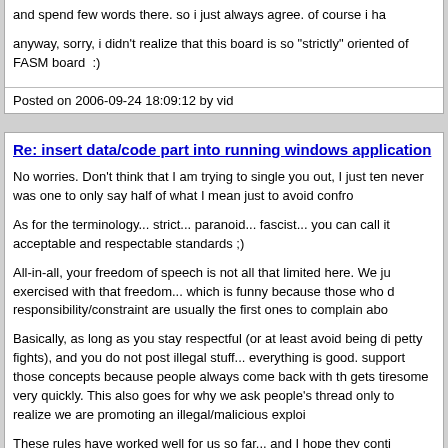and spend few words there. so i just always agree. of course i ha
anyway, sorry, i didn't realize that this board is so "strictly" oriented of FASM board  ;)
Posted on 2006-09-24 18:09:12 by vid
Re: insert data/code part into running windows application
No worries. Don't think that I am trying to single you out, I just ten never was one to only say half of what I mean just to avoid confro
As for the terminology... strict... paranoid... fascist... you can call it acceptable and respectable standards ;)
All-in-all, your freedom of speech is not all that limited here. We ju exercised with that freedom... which is funny because those who d responsibility/constraint are usually the first ones to complain abo
Basically, as long as you stay respectful (or at least avoid being di petty fights), and you do not post illegal stuff... everything is good. support those concepts because people always come back with th gets tiresome very quickly. This also goes for why we ask people's thread only to realize we are promoting an illegal/malicious exploi
These rules have worked well for us so far... and I hope they conti
Posted on 2006-09-24 18:29:06 by SpooK